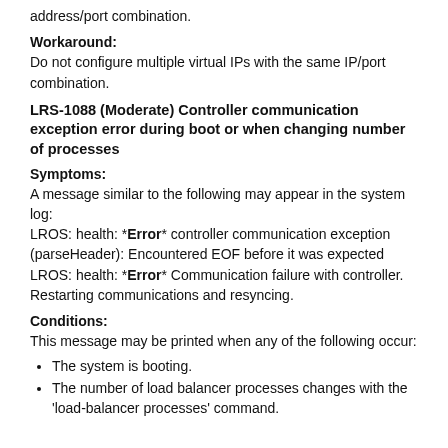address/port combination.
Workaround:
Do not configure multiple virtual IPs with the same IP/port combination.
LRS-1088 (Moderate) Controller communication exception error during boot or when changing number of processes
Symptoms:
A message similar to the following may appear in the system log:
LROS: health: *Error* controller communication exception (parseHeader): Encountered EOF before it was expected
LROS: health: *Error* Communication failure with controller. Restarting communications and resyncing.
Conditions:
This message may be printed when any of the following occur:
The system is booting.
The number of load balancer processes changes with the 'load-balancer processes' command.